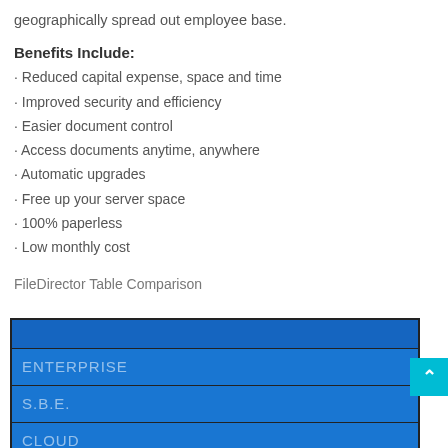geographically spread out employee base.
Benefits Include:
Reduced capital expense, space and time
Improved security and efficiency
Easier document control
Access documents anytime, anywhere
Automatic upgrades
Free up your server space
100% paperless
Low monthly cost
FileDirector Table Comparison
|  |
| ENTERPRISE |
| S.B.E. |
| CLOUD |
| User Limit |